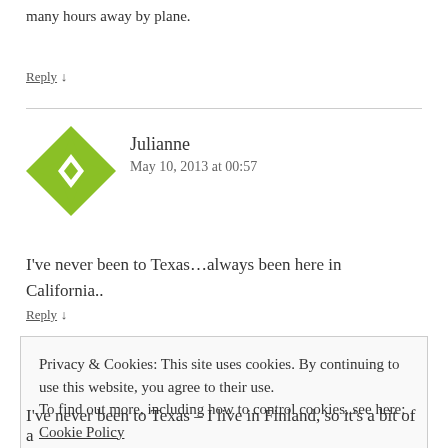many hours away by plane.
Reply ↓
[Figure (illustration): Green and white geometric quilt-pattern avatar for user Julianne]
Julianne
May 10, 2013 at 00:57
I've never been to Texas…always been here in California..
Reply ↓
Privacy & Cookies: This site uses cookies. By continuing to use this website, you agree to their use.
To find out more, including how to control cookies, see here: Cookie Policy
Close and accept
I've never been to Texas – I live in Finland, so it's a bit of a